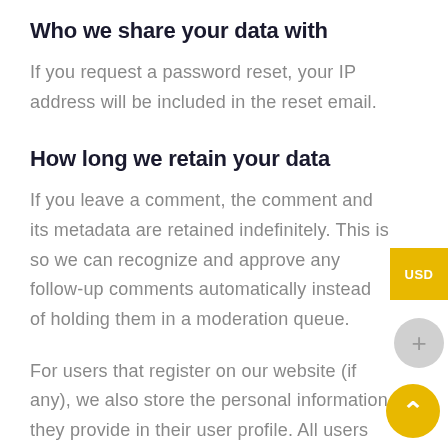Who we share your data with
If you request a password reset, your IP address will be included in the reset email.
How long we retain your data
If you leave a comment, the comment and its metadata are retained indefinitely. This is so we can recognize and approve any follow-up comments automatically instead of holding them in a moderation queue.
For users that register on our website (if any), we also store the personal information they provide in their user profile. All users can see, edit, or delete